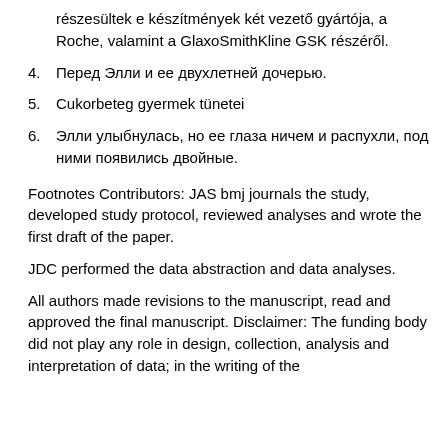részesültek e készítmények két vezető gyártója, a Roche, valamint a GlaxoSmithKline GSK részéről.
4. Перед Элли и ее двухлетней дочерью.
5. Cukorbeteg gyermek tünetei
6. Элли улыбнулась, но ее глаза ничем и распухли, под ними появились двойные.
Footnotes Contributors: JAS bmj journals the study, developed study protocol, reviewed analyses and wrote the first draft of the paper.
JDC performed the data abstraction and data analyses.
All authors made revisions to the manuscript, read and approved the final manuscript. Disclaimer: The funding body did not play any role in design, collection, analysis and interpretation of data; in the writing of the